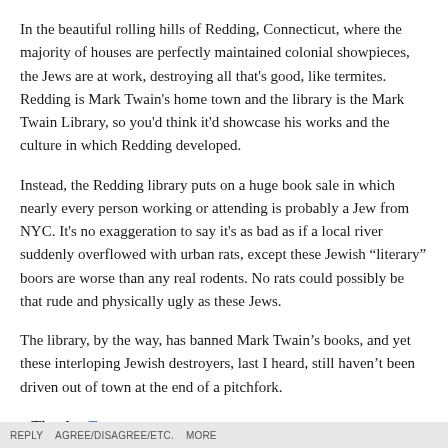In the beautiful rolling hills of Redding, Connecticut, where the majority of houses are perfectly maintained colonial showpieces, the Jews are at work, destroying all that's good, like termites. Redding is Mark Twain's home town and the library is the Mark Twain Library, so you'd think it'd showcase his works and the culture in which Redding developed.
Instead, the Redding library puts on a huge book sale in which nearly every person working or attending is probably a Jew from NYC. It's no exaggeration to say it's as bad as if a local river suddenly overflowed with urban rats, except these Jewish “literary” boors are worse than any real rodents. No rats could possibly be that rude and physically ugly as these Jews.
The library, by the way, has banned Mark Twain’s books, and yet these interloping Jewish destroyers, last I heard, still haven't been driven out of town at the end of a pitchfork.
Thanks: Towey
REPLY   AGREE/DISAGREE/ETC.   MORE